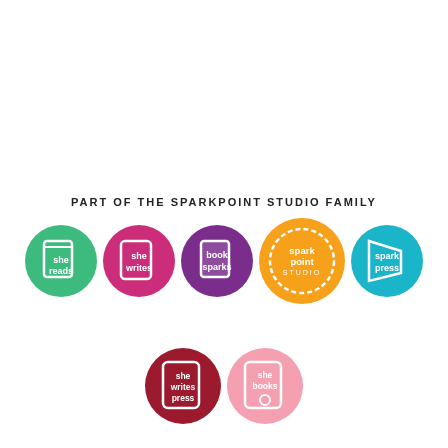PART OF THE SPARKPOINT STUDIO FAMILY
[Figure (logo): Seven circular logos for SparkPoint Studio family brands: she reads (green), she writes (magenta), book sparks (purple), spark point studio (orange), spark press (teal), she writes press (dark red), she books o (pink)]